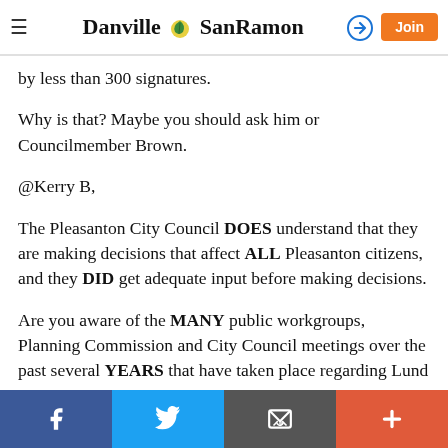Danville SanRamon — navigation header with hamburger menu, logo, login and Join button
by less than 300 signatures.
Why is that? Maybe you should ask him or Councilmember Brown.
@Kerry B,
The Pleasanton City Council DOES understand that they are making decisions that affect ALL Pleasanton citizens, and they DID get adequate input before making decisions.
Are you aware of the MANY public workgroups, Planning Commission and City Council meetings over the past several YEARS that have taken place regarding Lund Ranch II?
Social share bar: Facebook, Twitter, Email, Plus